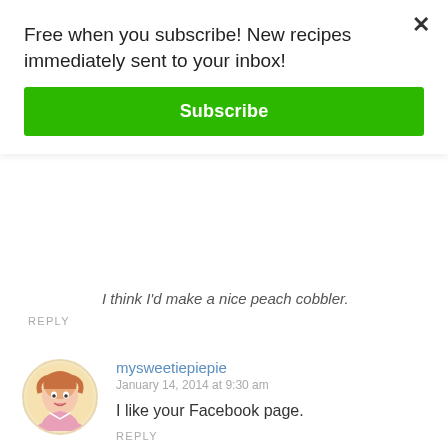Free when you subscribe! New recipes immediately sent to your inbox!
Subscribe
I think I'd make a nice peach cobbler.
REPLY
mysweetiepiepie
January 14, 2014 at 9:30 am
I like your Facebook page.
REPLY